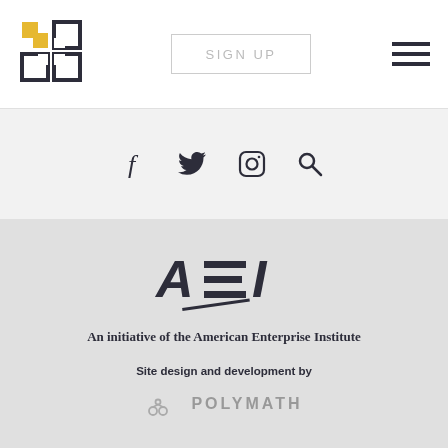[Figure (logo): Grid-style plus/cross logo in gold and dark outline squares]
[Figure (other): SIGN UP button with border]
[Figure (other): Hamburger menu icon with three horizontal lines]
[Figure (other): Social media icons: Facebook, Twitter, Instagram, Search]
[Figure (logo): AEI logo - American Enterprise Institute stylized text logo]
An initiative of the American Enterprise Institute
Site design and development by
[Figure (logo): Polymath logo with circular nodes and POLYMATH text]